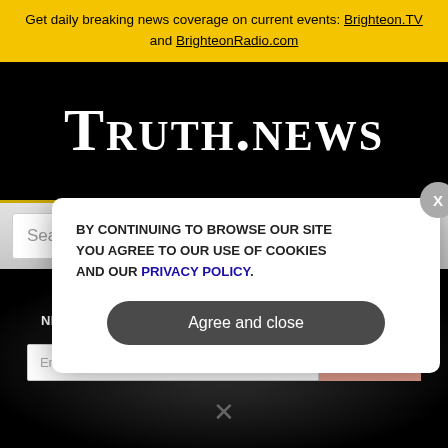Get daily breaking news coverage on current events: Brighteon.TV and BrighteonRadio.com
[Figure (logo): Truth.News logo in white serif small-caps text on black background]
Search
GET THE WORLD'S MOST INDEPENDENT MEDIA NEWSLETTER DELIVERED STRAIGHT TO YOUR INBOX.
Enter Your Email Address
SUBSCRIBE
BY CONTINUING TO BROWSE OUR SITE YOU AGREE TO OUR USE OF COOKIES AND OUR PRIVACY POLICY.
Agree and close